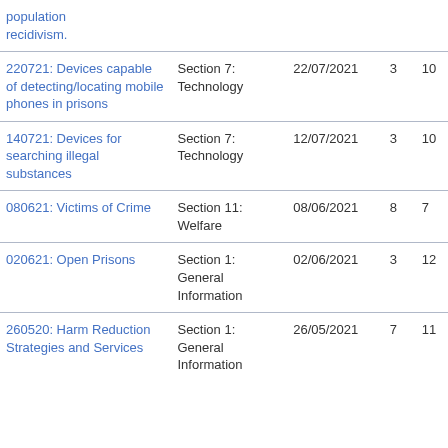| Title | Section | Date | Col1 | Col2 |
| --- | --- | --- | --- | --- |
| population recidivism. |  |  |  |  |
| 220721: Devices capable of detecting/locating mobile phones in prisons | Section 7: Technology | 22/07/2021 | 3 | 10 |
| 140721: Devices for searching illegal substances | Section 7: Technology | 12/07/2021 | 3 | 10 |
| 080621: Victims of Crime | Section 11: Welfare | 08/06/2021 | 8 | 7 |
| 020621: Open Prisons | Section 1: General Information | 02/06/2021 | 3 | 12 |
| 260520: Harm Reduction Strategies and Services | Section 1: General Information | 26/05/2021 | 7 | 11 |